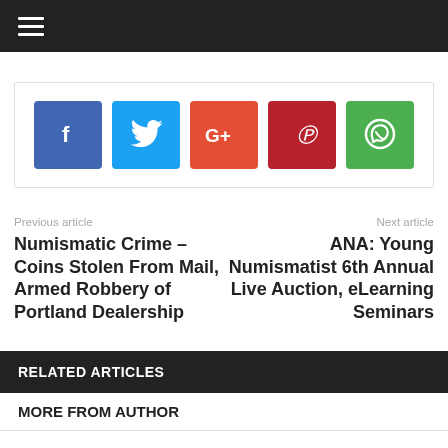≡ (hamburger menu)
[Figure (infographic): Social share buttons: Facebook (blue), Twitter (cyan), Google+ (orange-red), Pinterest (dark red), WhatsApp (green)]
Previous article
Next article
Numismatic Crime – Coins Stolen From Mail, Armed Robbery of Portland Dealership
ANA: Young Numismatist 6th Annual Live Auction, eLearning Seminars
RELATED ARTICLES
MORE FROM AUTHOR